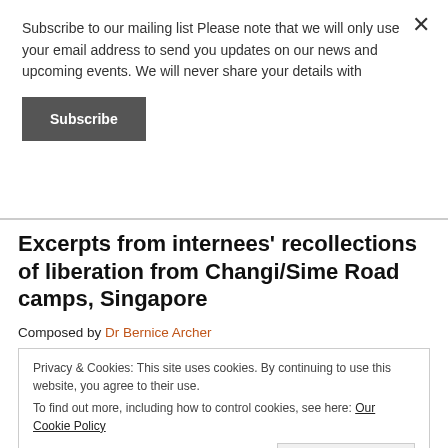Subscribe to our mailing list Please note that we will only use your email address to send you updates on our news and upcoming events. We will never share your details with
Subscribe
Excerpts from internees' recollections of liberation from Changi/Sime Road camps, Singapore
Composed by Dr Bernice Archer
Privacy & Cookies: This site uses cookies. By continuing to use this website, you agree to their use.
To find out more, including how to control cookies, see here: Our Cookie Policy
Close and accept
It was not until 19th August 1945 that the...